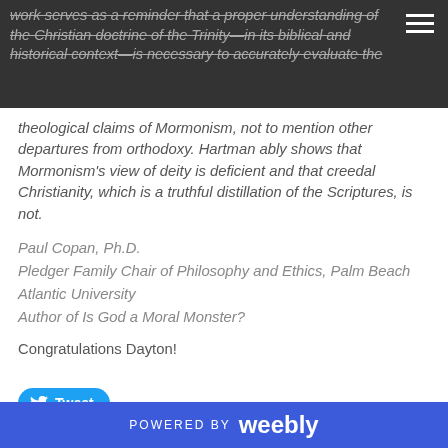work serves as a reminder that a proper understanding of the Christian doctrine of the Trinity—in its biblical and historical context—is necessary to accurately evaluate the theological claims of Mormonism, not to mention other departures from orthodoxy. Hartman ably shows that Mormonism's view of deity is deficient and that creedal Christianity, which is a truthful distillation of the Scriptures, is not.
theological claims of Mormonism, not to mention other departures from orthodoxy. Hartman ably shows that Mormonism's view of deity is deficient and that creedal Christianity, which is a truthful distillation of the Scriptures, is not.
Paul Copan, Ph.D.
Pledger Family Chair of Philosophy and Ethics, Palm Beach Atlantic University
Author of Is God a Moral Monster?
Congratulations Dayton!
POWERED BY weebly